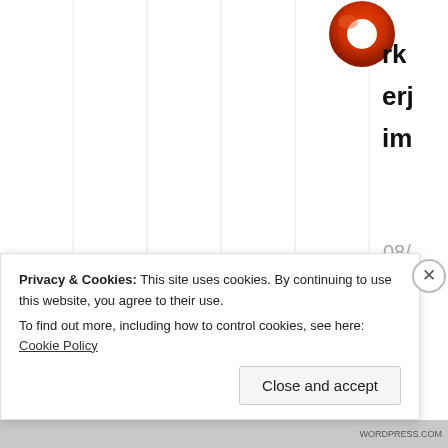[Figure (logo): Orange circular logo resembling a donut/ring shape at the top]
rk
erj
im
08/04/2021 @ 09:40 at 09:40
Privacy & Cookies: This site uses cookies. By continuing to use this website, you agree to their use.
To find out more, including how to control cookies, see here: Cookie Policy
Close and accept